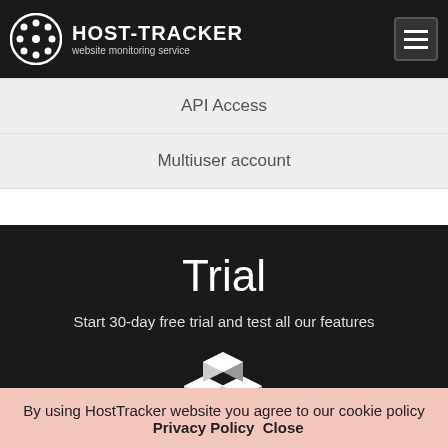HOST-TRACKER website monitoring service
API Access
Multiuser account
Trial
Start 30-day free trial and test all our features
[Figure (logo): Host-Tracker 3D box logo icon in white]
By using HostTracker website you agree to our cookie policy   Privacy Policy   Close